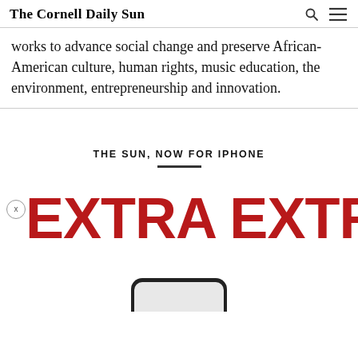The Cornell Daily Sun
works to advance social change and preserve African-American culture, human rights, music education, the environment, entrepreneurship and innovation.
THE SUN, NOW FOR IPHONE
[Figure (screenshot): App promotion banner showing 'EXTRA EXTRA' in large red bold text with a close button, and the bottom of a phone device below]